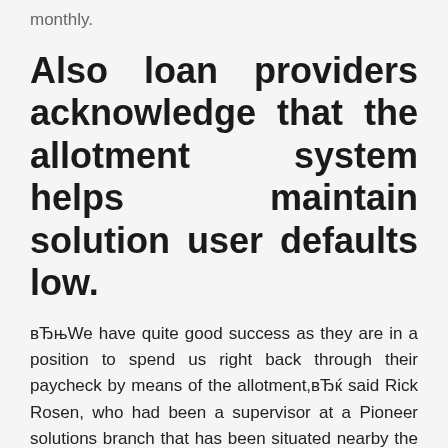monthly.
Also loan providers acknowledge that the allotment system helps maintain solution user defaults low.
вЂњWe have quite good success as they are in a position to spend us right back through their paycheck by means of the allotment,вЂќ said Rick Rosen, who had been a supervisor at a Pioneer solutions branch that has been situated nearby the primary entry to Fort Bliss, Tex., certainly one of the nationвЂ™s largest bases. During a job interview early in the day